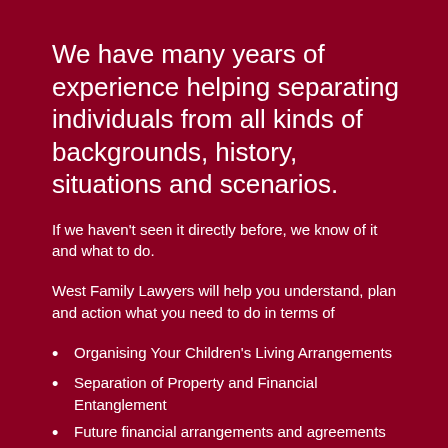We have many years of experience helping separating individuals from all kinds of backgrounds, history, situations and scenarios.
If we haven't seen it directly before, we know of it and what to do.
West Family Lawyers will help you understand, plan and action what you need to do in terms of
Organising Your Children's Living Arrangements
Separation of Property and Financial Entanglement
Future financial arrangements and agreements on parenting.